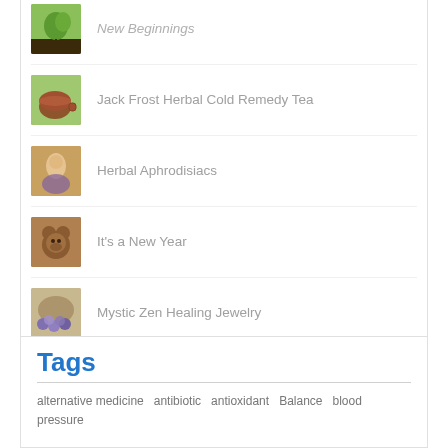New Beginnings
Jack Frost Herbal Cold Remedy Tea
Herbal Aphrodisiacs
It's a New Year
Mystic Zen Healing Jewelry
Tags
alternative medicine  antibiotic  antioxidant  Balance  blood pressure